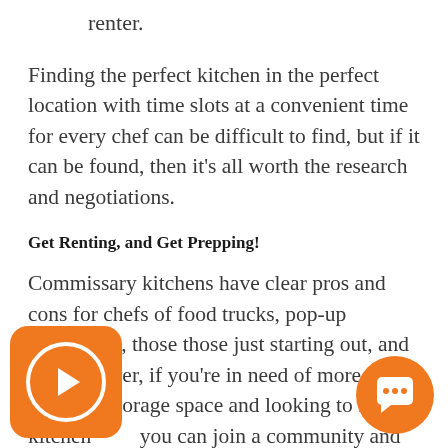renter.
Finding the perfect kitchen in the perfect location with time slots at a convenient time for every chef can be difficult to find, but if it can be found, then it's all worth the research and negotiations.
Get Renting, and Get Prepping!
Commissary kitchens have clear pros and cons for chefs of food trucks, pop-up restaurants, those those just starting out, and on. However, if you're in need of more food prep and storage space and looking to find a kitchen you can join a community and build your ess to create more success in the future renting a commercial kitchen could be the best
[Figure (other): Orange rounded-square play button icon overlay at bottom left]
[Figure (other): Orange circular chat/message button icon overlay at bottom right]